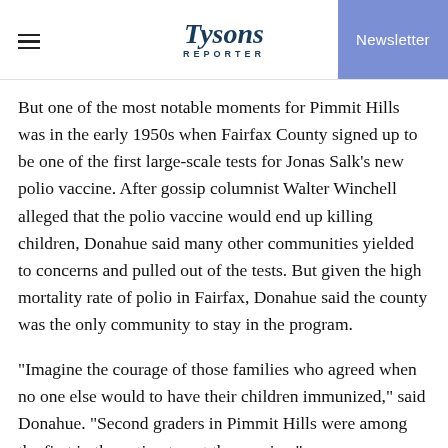Tysons Reporter — Newsletter
But one of the most notable moments for Pimmit Hills was in the early 1950s when Fairfax County signed up to be one of the first large-scale tests for Jonas Salk's new polio vaccine. After gossip columnist Walter Winchell alleged that the polio vaccine would end up killing children, Donahue said many other communities yielded to concerns and pulled out of the tests. But given the high mortality rate of polio in Fairfax, Donahue said the county was the only community to stay in the program.
“Imagine the courage of those families who agreed when no one else would to have their children immunized,” said Donahue. “Second graders in Pimmit Hills were among the first in the nation to get the vaccine.”